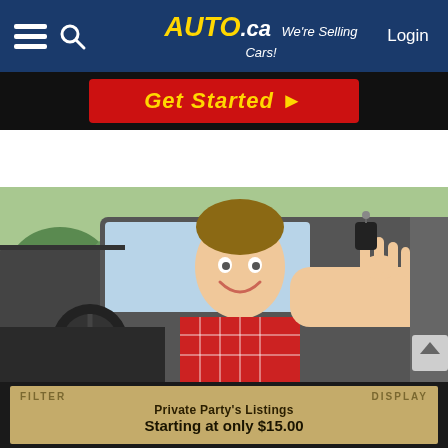Auto.ca — We're Selling Cars! | Login
[Figure (screenshot): Red 'Get Started' button banner on dark background]
[Figure (photo): Young smiling man sitting in car holding up car keys, wearing red plaid shirt]
Private Party's Listings Starting at only $15.00
FILTER | DISPLAY